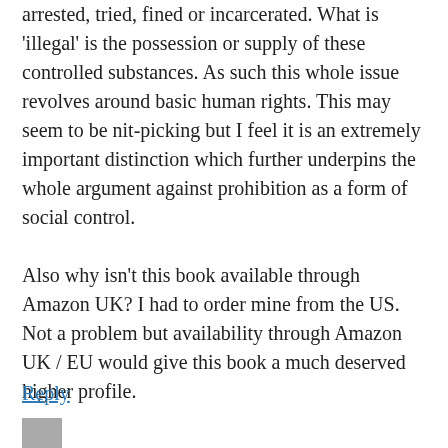arrested, tried, fined or incarcerated. What is 'illegal' is the possession or supply of these controlled substances. As such this whole issue revolves around basic human rights. This may seem to be nit-picking but I feel it is an extremely important distinction which further underpins the whole argument against prohibition as a form of social control.
Also why isn't this book available through Amazon UK? I had to order mine from the US. Not a problem but availability through Amazon UK / EU would give this book a much deserved higher profile.
Reply